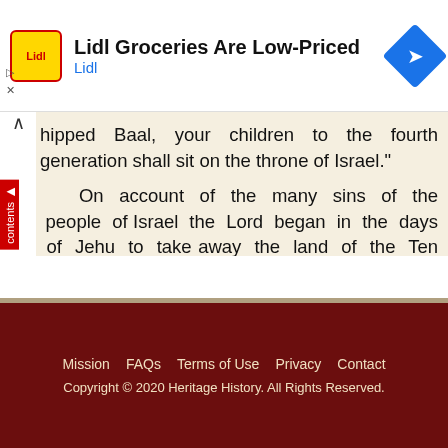[Figure (other): Lidl advertisement banner with logo, headline 'Lidl Groceries Are Low-Priced', subtext 'Lidl', and navigation icon]
shipped Baal, your children to the fourth generation shall sit on the throne of Israel."
On account of the many sins of the people of Israel the Lord began in the days of Jehu to take away the land of the Ten Tribes. Hazael, the new king of Syria, made war on Jehu, and conquered all the land on the east of the Jordan, from the brook Amon to the land of Bashan in the north; so all that was left of Israel was the country on the west of Jordan, from Bethel northward to Dan.
◄ Previous Chapter   Next Chapter ►
Mission  FAQs  Terms of Use  Privacy  Contact
Copyright © 2020 Heritage History. All Rights Reserved.